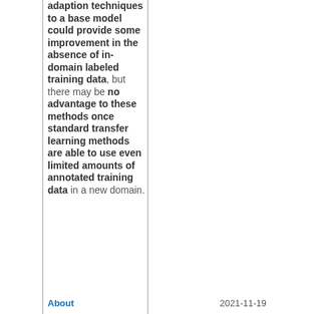adaption techniques to a base model could provide some improvement in the absence of in-domain labeled training data, but there may be no advantage to these methods once standard transfer learning methods are able to use even limited amounts of annotated training data in a new domain.
About   2021-11-19